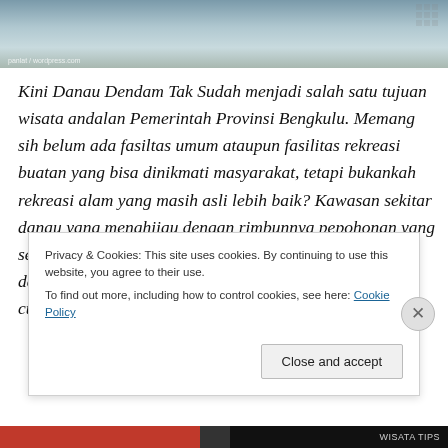[Figure (photo): A lake scene with misty water and mountains/trees in the background, with a small watermark text at the bottom left]
Kini Danau Dendam Tak Sudah menjadi salah satu tujuan wisata andalan Pemerintah Provinsi Bengkulu. Memang sih belum ada fasiltas umum ataupun fasilitas rekreasi buatan yang bisa dinikmati masyarakat, tetapi bukankah rekreasi alam yang masih asli lebih baik? Kawasan sekitar danau yang menghijau dengan rimbunnya pepohonan yang seolah memagari danau yang berair tenang dengan deretan pegunungan Bukit Barisan di kejauhan sudah cukup nyaman untuk dipandang.
Privacy & Cookies: This site uses cookies. By continuing to use this website, you agree to their use.
To find out more, including how to control cookies, see here: Cookie Policy
Close and accept